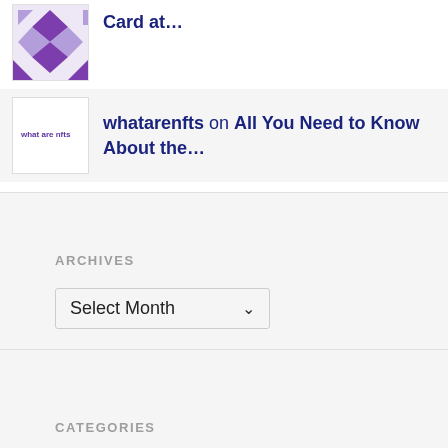[Figure (illustration): Purple geometric/diamond pattern thumbnail image in top-left corner area]
Card at…
[Figure (illustration): White thumbnail with text 'what are nfts' in small purple letters]
whatarenfts on All You Need to Know About the…
ARCHIVES
Select Month
CATEGORIES
Select Category